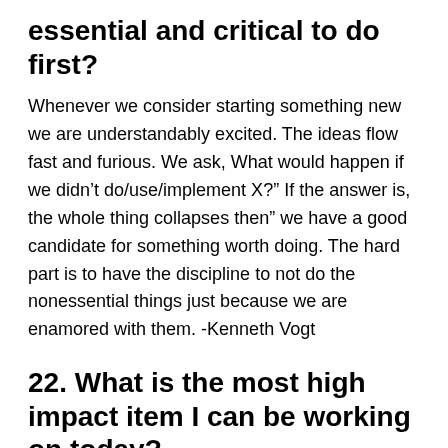essential and critical to do first?
Whenever we consider starting something new we are understandably excited. The ideas flow fast and furious. We ask, What would happen if we didn’t do/use/implement X?” If the answer is, the whole thing collapses then” we have a good candidate for something worth doing. The hard part is to have the discipline to not do the nonessential things just because we are enamored with them. -Kenneth Vogt
22. What is the most high impact item I can be working on today?
Entrepreneurs must constantly challenge themselves to focus on revenue generating